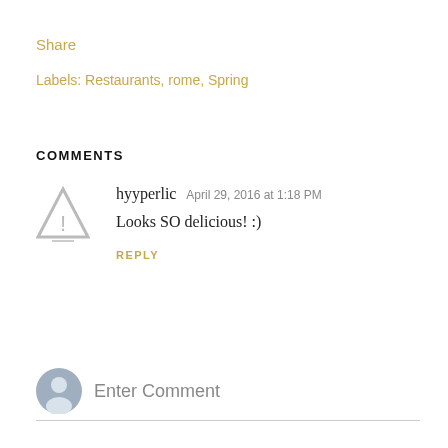Share
Labels: Restaurants, rome, Spring
COMMENTS
[Figure (illustration): Warning/alert triangle icon used as comment avatar for user hyyperlic]
hyyperlic  April 29, 2016 at 1:18 PM
Looks SO delicious! :)
REPLY
[Figure (illustration): Generic user silhouette avatar icon in grey circle]
Enter Comment